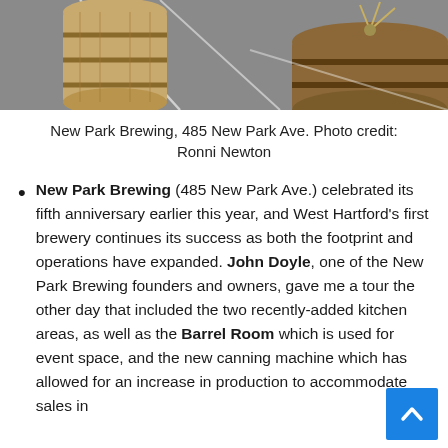[Figure (photo): Photo of wooden barrels on a pavement surface outside New Park Brewing]
New Park Brewing, 485 New Park Ave. Photo credit: Ronni Newton
New Park Brewing (485 New Park Ave.) celebrated its fifth anniversary earlier this year, and West Hartford's first brewery continues its success as both the footprint and operations have expanded. John Doyle, one of the New Park Brewing founders and owners, gave me a tour the other day that included the two recently-added kitchen areas, as well as the Barrel Room which is used for event space, and the new canning machine which has allowed for an increase in production to accommodate sales in